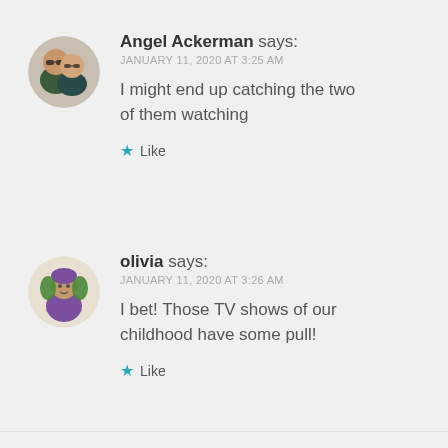Angel Ackerman says:
JANUARY 11, 2020 AT 3:25 AM
I might end up catching the two of them watching
Like
[Figure (illustration): Circular avatar of Angel Ackerman showing two people wearing sunglasses]
olivia says:
JANUARY 11, 2020 AT 3:26 AM
I bet! Those TV shows of our childhood have some pull!
Like
[Figure (illustration): Circular avatar of olivia showing a whimsical illustrated character in purple/green colors]